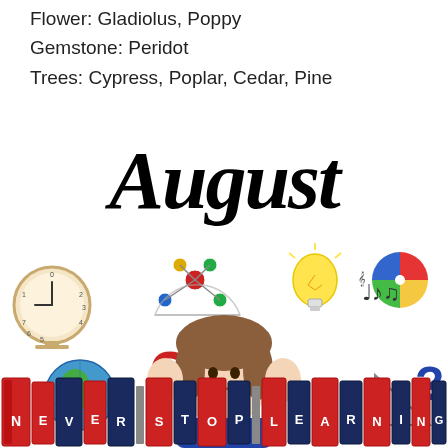Flower: Gladiolus, Poppy
Gemstone: Peridot
Trees: Cypress, Poplar, Cedar, Pine
[Figure (illustration): August back-to-school themed illustration with large bold italic 'August' text, a smiling girl with hands raised, surrounded by school/education icons (clock, atom model, lightbulb, musical notes, pie chart, globe, question mark, ruler, magnet), and a row of books at the bottom spelling 'NEVER STOP LEARNING']